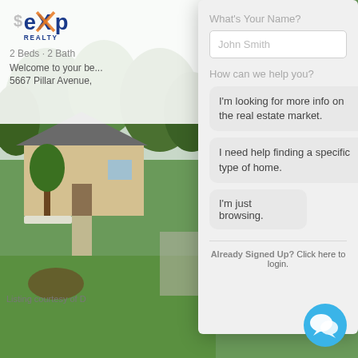[Figure (screenshot): eXp Realty real estate website screenshot showing a property listing page with a modal dialog overlay asking for user name and intent. Background shows a single-story home with green lawn. Logo is eXp Realty in blue/orange.]
2 Beds · 2 Bath
Welcome to your be...
5667 Pillar Avenue,
Listing courtesy of D
What's Your Name?
John Smith
How can we help you?
I'm looking for more info on the real estate market.
I need help finding a specific type of home.
I'm just browsing.
Already Signed Up? Click here to login.